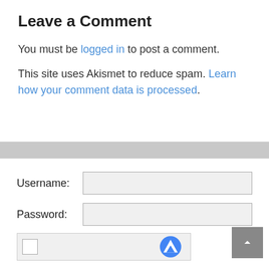Leave a Comment
You must be logged in to post a comment.
This site uses Akismet to reduce spam. Learn how your comment data is processed.
[Figure (screenshot): Login form with Username and Password fields, Keep me signed in checkbox, and reCAPTCHA widget. A gray scroll-to-top button is visible in the bottom right corner.]